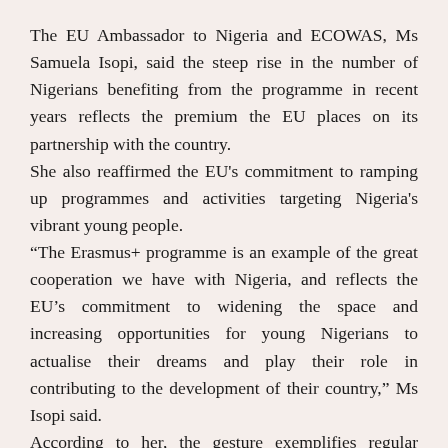The EU Ambassador to Nigeria and ECOWAS, Ms Samuela Isopi, said the steep rise in the number of Nigerians benefiting from the programme in recent years reflects the premium the EU places on its partnership with the country.
She also reaffirmed the EU's commitment to ramping up programmes and activities targeting Nigeria's vibrant young people.
“The Erasmus+ programme is an example of the great cooperation we have with Nigeria, and reflects the EU’s commitment to widening the space and increasing opportunities for young Nigerians to actualise their dreams and play their role in contributing to the development of their country,” Ms Isopi said.
According to her, the gesture exemplifies regular migration opportunities for ordinary Nigerians to travel